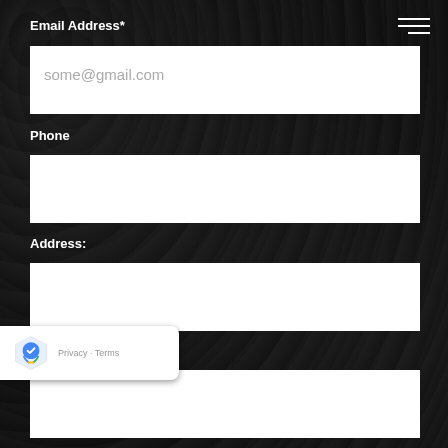Email Address*
some@gmail.com
Phone
Address:
City/ State/ Zip:
ce*